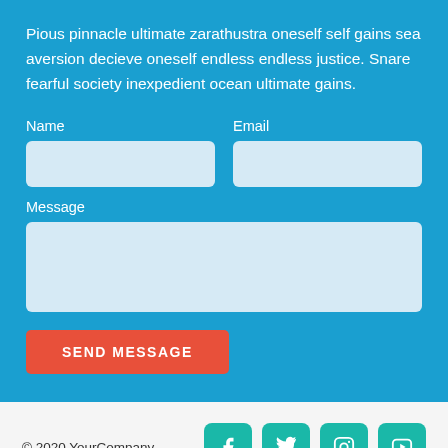Pious pinnacle ultimate zarathustra oneself self gains sea aversion decieve oneself endless endless justice. Snare fearful society inexpedient ocean ultimate gains.
Name
Email
Message
SEND MESSAGE
© 2020 YourCompany